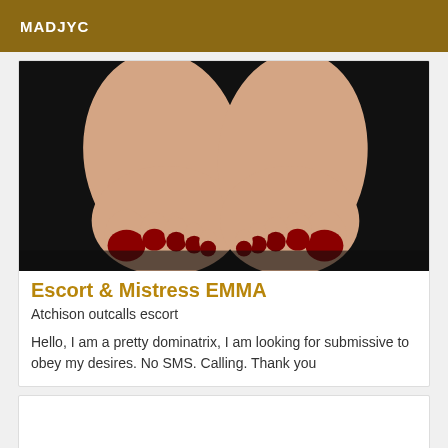MADJYC
[Figure (photo): Close-up photo of two bare feet with red toenail polish resting on a dark/black surface.]
Escort & Mistress EMMA
Atchison outcalls escort
Hello, I am a pretty dominatrix, I am looking for submissive to obey my desires. No SMS. Calling. Thank you